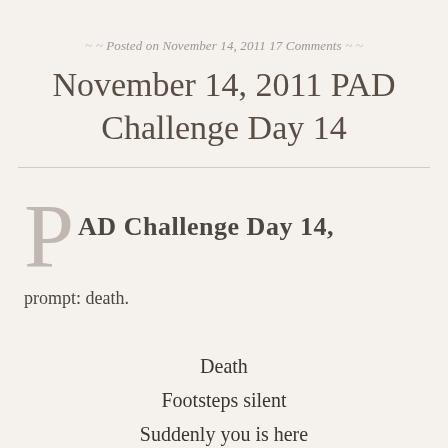Posted on November 14, 2011 17 Comments
November 14, 2011 PAD Challenge Day 14
PAD Challenge Day 14,
prompt: death.
Death

Footsteps silent

Suddenly you is here